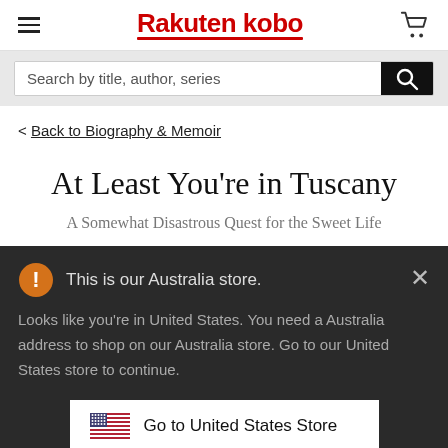Rakuten kobo
Search by title, author, series
< Back to Biography & Memoir
At Least You're in Tuscany
A Somewhat Disastrous Quest for the Sweet Life
This is our Australia store.
Looks like you're in United States. You need a Australia address to shop on our Australia store. Go to our United States store to continue.
Go to United States Store
Choose another store